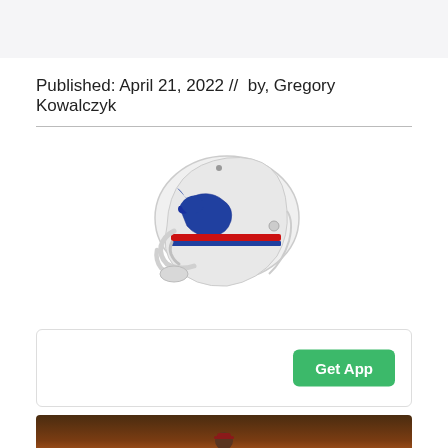Published: April 21, 2022 //  by, Gregory Kowalczyk
[Figure (illustration): Buffalo Bills white football helmet with blue and red logo and stripe, facing right]
[Figure (screenshot): Advertisement box with a green 'Get App' button on the right side]
[Figure (photo): Bottom portion of an image showing a person in a dark indoor venue with warm amber/orange lighting]